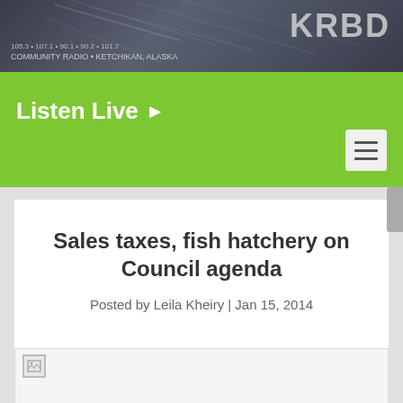[Figure (screenshot): KRBD Community Radio website header banner with dark forest/night sky background and KRBD logo]
105.3 • 107.1 • 90.1 • 90.2 • 101.7
COMMUNITY RADIO • KETCHIKAN, ALASKA
Listen Live ▶
Sales taxes, fish hatchery on Council agenda
Posted by Leila Kheiry | Jan 15, 2014
[Figure (photo): Broken image placeholder at bottom of article]